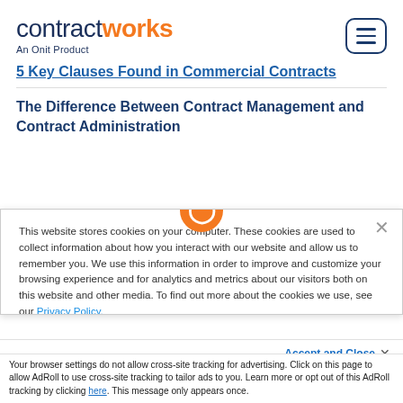[Figure (logo): ContractWorks logo - 'contract' in navy blue, 'works' in orange bold, with subtitle 'An Onit Product' below]
[Figure (illustration): Hamburger menu button icon with three horizontal lines, rounded rectangle border in navy blue]
5 Key Clauses Found in Commercial Contracts
The Difference Between Contract Management and Contract Administration
This website stores cookies on your computer. These cookies are used to collect information about how you interact with our website and allow us to remember you. We use this information in order to improve and customize your browsing experience and for analytics and metrics about our visitors both on this website and other media. To find out more about the cookies we use, see our Privacy Policy.
Accept and Close ×
Your browser settings do not allow cross-site tracking for advertising. Click on this page to allow AdRoll to use cross-site tracking to tailor ads to you. Learn more or opt out of this AdRoll tracking by clicking here. This message only appears once.